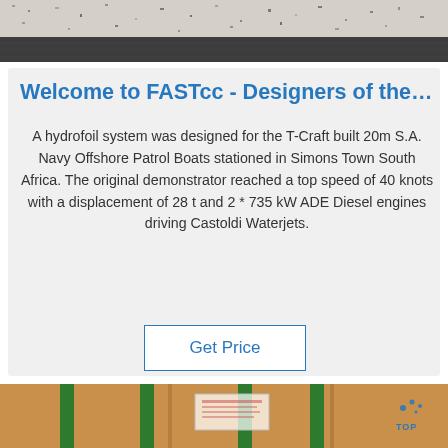[Figure (photo): Top portion of page showing a granite/stone surface texture with dark speckled pattern and a dark strip below it]
Welcome to FASTcc - Designers of the Hy...
A hydrofoil system was designed for the T-Craft built 20m S.A. Navy Offshore Patrol Boats stationed in Simons Town South Africa. The original demonstrator reached a top speed of 40 knots with a displacement of 28 t and 2 * 735 kW ADE Diesel engines driving Castoldi Waterjets.
Get Price
[Figure (photo): Bottom photo showing cardboard boxes wrapped with green tape stripes, a white label in the center, and a blue 'TOP' logo watermark in the bottom right corner]